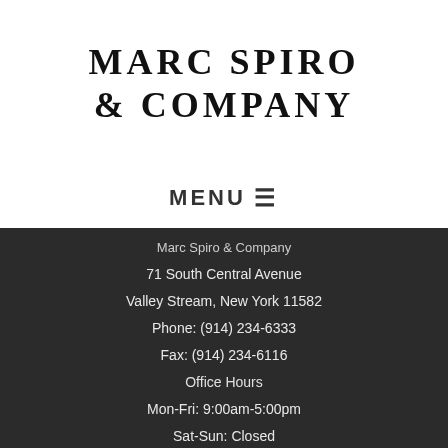MARC SPIRO & COMPANY
MENU ☰
Marc Spiro & Company
71 South Central Avenue
Valley Stream, New York 11582
Phone: (914) 234-6333
Fax: (914) 234-6116
Office Hours
Mon-Fri: 9:00am-5:00pm
Sat-Sun: Closed